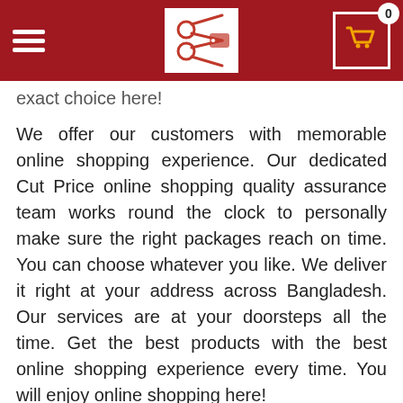[Navigation header with hamburger menu, Cut Price logo, and shopping cart with badge 0]
exact choice here!
We offer our customers with memorable online shopping experience. Our dedicated Cut Price online shopping quality assurance team works round the clock to personally make sure the right packages reach on time. You can choose whatever you like. We deliver it right at your address across Bangladesh. Our services are at your doorsteps all the time. Get the best products with the best online shopping experience every time. You will enjoy online shopping here!
Quality Products
We promise the quality of our products. We want you to reward the best quality products from the best sellers and brands in the country. Our dedicated Cut Price online shopping quality promise team works round the clock to individually make sure the right packages reach on time.